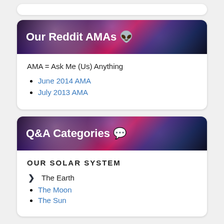[Figure (illustration): Top stub of a white card partially visible at the top of the page]
Our Reddit AMAs 🤖
AMA = Ask Me (Us) Anything
June 2014 AMA
July 2013 AMA
Q&A Categories 💬
OUR SOLAR SYSTEM
The Earth
The Moon
The Sun